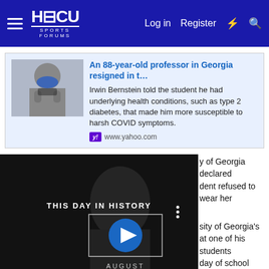HBCU SPORTS FORUMS — Log in  Register
[Figure (screenshot): Article preview card with thumbnail image of person wearing blue mask, headline 'An 88-year-old professor in Georgia resigned in t…', description text, and www.yahoo.com source link]
[Figure (screenshot): Embedded video player showing 'THIS DAY IN HISTORY' / 'AUGUST' overlay with play button, mute button, and fullscreen controls on a dark background]
y of Georgia declared dent refused to wear her sity of Georgia's at one of his students day of school without a mask. When a peer gave the student a mask to wear in class, she did not wear it across her face properly. She said she found it difficult to breathe with the mask over her nose, the most effective way to wear a face covering, health agencies such as the Centers for Disease Control and Prevention said.